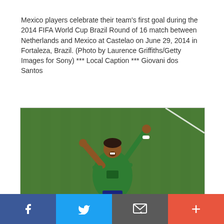Mexico players celebrate their team's first goal during the 2014 FIFA World Cup Brazil Round of 16 match between Netherlands and Mexico at Castelao on June 29, 2014 in Fortaleza, Brazil. (Photo by Laurence Griffiths/Getty Images for Sony) *** Local Caption *** Giovani dos Santos
[Figure (photo): A soccer player in a green Mexico jersey celebrating with both arms raised, pointing upward, on a green grass pitch.]